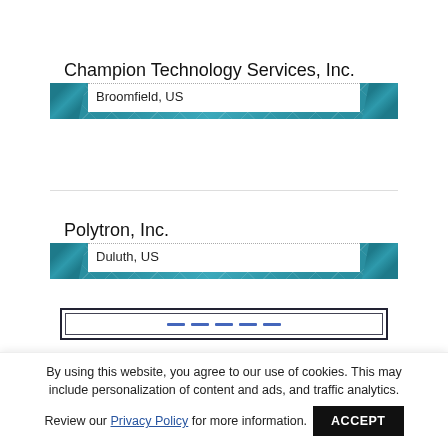Champion Technology Services, Inc.
Broomfield, US
Polytron, Inc.
Duluth, US
By using this website, you agree to our use of cookies. This may include personalization of content and ads, and traffic analytics. Review our Privacy Policy for more information.